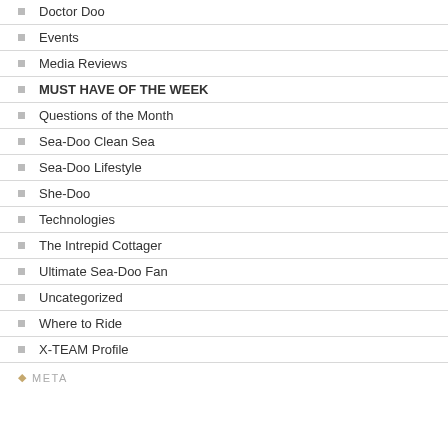Doctor Doo
Events
Media Reviews
MUST HAVE OF THE WEEK
Questions of the Month
Sea-Doo Clean Sea
Sea-Doo Lifestyle
She-Doo
Technologies
The Intrepid Cottager
Ultimate Sea-Doo Fan
Uncategorized
Where to Ride
X-TEAM Profile
META